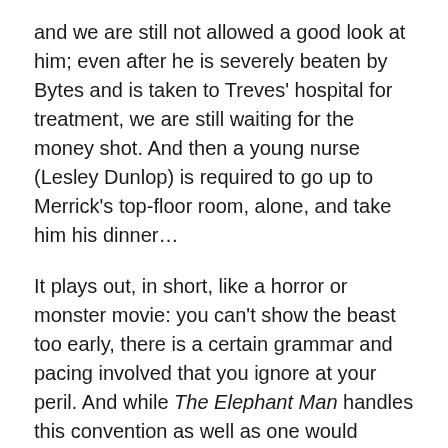and we are still not allowed a good look at him; even after he is severely beaten by Bytes and is taken to Treves' hospital for treatment, we are still waiting for the money shot. And then a young nurse (Lesley Dunlop) is required to go up to Merrick's top-floor room, alone, and take him his dinner…
It plays out, in short, like a horror or monster movie: you can't show the beast too early, there is a certain grammar and pacing involved that you ignore at your peril. And while The Elephant Man handles this convention as well as one would expect, given Lynch's facility with genre movie tropes, it is strikingly at odds with the tone that the rest of the film works hard to achieve.
Central to the film, from this point on at least, is the idea that beneath the truly horrible deformities, Merrick is a